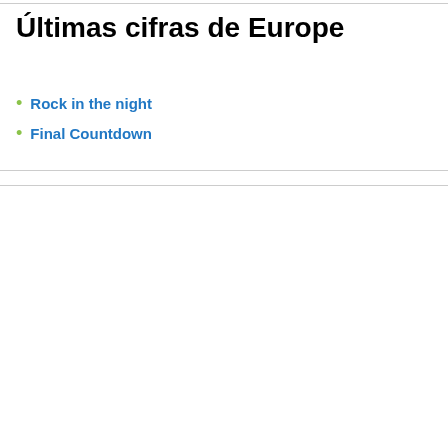Últimas cifras de Europe
Rock in the night
Final Countdown